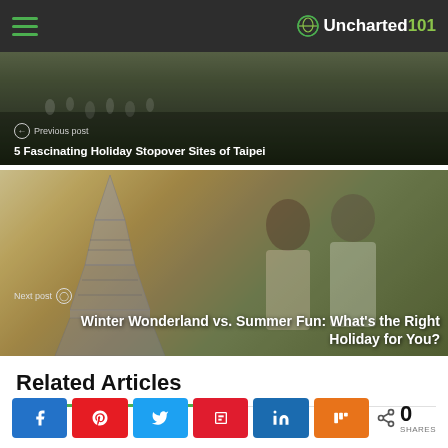Uncharted101
[Figure (photo): Previous post banner image: aerial/street scene, dark green tones, people visible]
← Previous post  5 Fascinating Holiday Stopover Sites of Taipei
[Figure (photo): Next post banner image: couple in front of Eiffel Tower, warm tones]
Next post ⊙ Winter Wonderland vs. Summer Fun: What's the Right Holiday for You?
Related Articles
0 SHARES